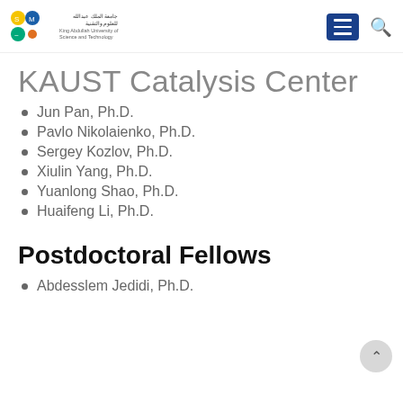KAUST - King Abdullah University of Science and Technology logo and navigation
KAUST Catalysis Center
Jun Pan, Ph.D.
Pavlo Nikolaienko, Ph.D.
Sergey Kozlov, Ph.D.
Xiulin Yang, Ph.D.
Yuanlong Shao, Ph.D.
Huaifeng Li, Ph.D.
Postdoctoral Fellows
Abdesslem Jedidi, Ph.D.